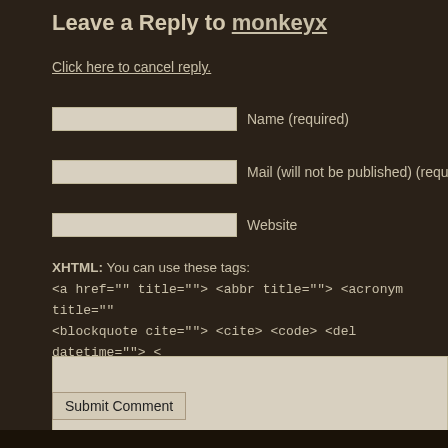Leave a Reply to monkeyx
Click here to cancel reply.
Name (required)
Mail (will not be published) (required)
Website
XHTML: You can use these tags: <a href="" title=""> <abbr title=""> <acronym title=""> <blockquote cite=""> <cite> <code> <del datetime=""> <cite=""> <s> <strike> <strong>
Submit Comment